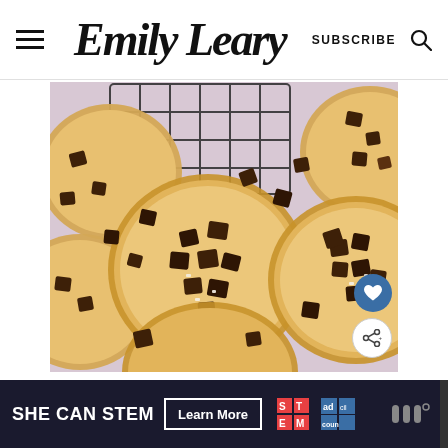Emily Leary — SUBSCRIBE
[Figure (photo): Overhead flat-lay photo of chocolate chunk cookies on a lavender/pink background, scattered chocolate pieces, with a cooling rack visible at the top. Cookies are golden-brown with large dark chocolate chunks and sea salt flakes.]
[Figure (infographic): Advertisement banner: SHE CAN STEM | Learn More button | STEM logo | Ad Council logo | additional logo on right]